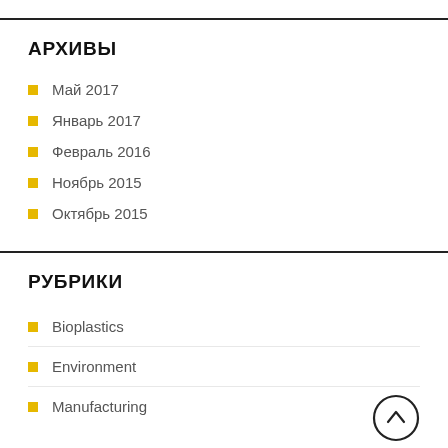АРХИВЫ
Май 2017
Январь 2017
Февраль 2016
Ноябрь 2015
Октябрь 2015
РУБРИКИ
Bioplastics
Environment
Manufacturing